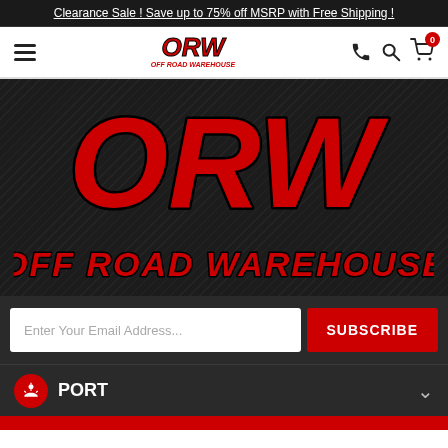Clearance Sale ! Save up to 75% off MSRP with Free Shipping !
[Figure (logo): ORW Off Road Warehouse logo in red with navigation bar containing hamburger menu, phone icon, search icon, and cart with 0 items]
[Figure (logo): Large ORW Off Road Warehouse logo on dark diagonal striped background - ORW in large red bold italic letters, OFF ROAD WAREHOUSE in red bold italic below]
Enter Your Email Address...
SUBSCRIBE
PORT